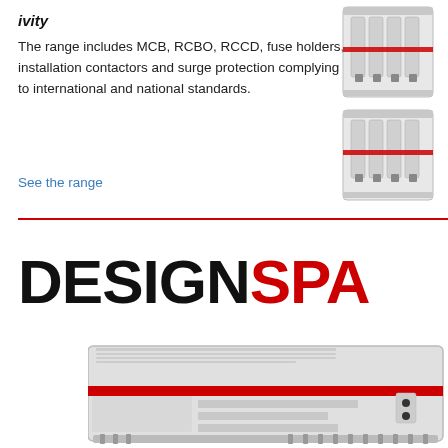ivity
The range includes MCB, RCBO, RCCD, fuse holders, installation contactors and surge protection complying to international and national standards.
See the range
[Figure (photo): Two ABB modular circuit breaker products stacked vertically, white/grey housing with red stripe]
[Figure (logo): DESIGNSPA logo — DESIGN in black bold, SPA in red bold, text cropped at right edge]
[Figure (photo): ABB DIN-rail mounted device/controller unit — grey rectangular housing with red stripe, connectors visible on front]